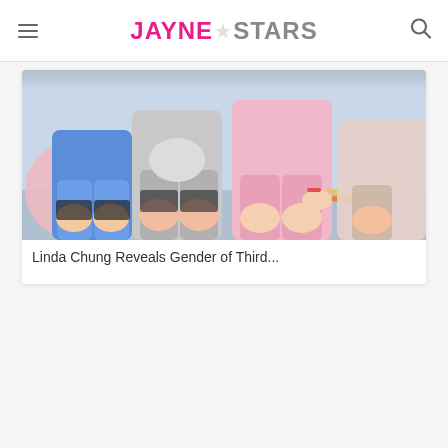JAYNE★STARS
[Figure (photo): Photo of people sitting together outdoors, partially cropped, showing torsos and legs]
Linda Chung Reveals Gender of Third...